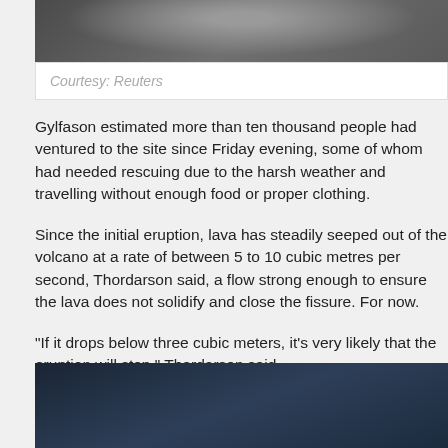[Figure (photo): Top portion of a photo showing a person, partially cropped]
Courtesy: Reuters
Gylfason estimated more than ten thousand people had ventured to the site since Friday evening, some of whom had needed rescuing due to the harsh weather and travelling without enough food or proper clothing.
Since the initial eruption, lava has steadily seeped out of the volcano at a rate of between 5 to 10 cubic metres per second, Thordarson said, a flow strong enough to ensure the lava does not solidify and close the fissure. For now.
“If it drops below three cubic meters, it’s very likely that the eruption will stop,” Thordarson said.
[Figure (photo): Bottom portion showing dark blue textured volcanic rock or ground surface]